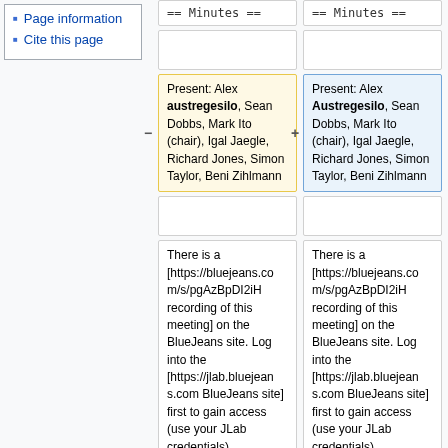Page information
Cite this page
== Minutes ==
== Minutes ==
Present: Alex austregesilo, Sean Dobbs, Mark Ito (chair), Igal Jaegle, Richard Jones, Simon Taylor, Beni Zihlmann
Present: Alex Austregesilo, Sean Dobbs, Mark Ito (chair), Igal Jaegle, Richard Jones, Simon Taylor, Beni Zihlmann
There is a [https://bluejeans.com/s/pgAzBpDI2iH recording of this meeting] on the BlueJeans site. Log into the [https://jlab.bluejeans.com BlueJeans site] first to gain access (use your JLab credentials).
There is a [https://bluejeans.com/s/pgAzBpDI2iH recording of this meeting] on the BlueJeans site. Log into the [https://jlab.bluejeans.com BlueJeans site] first to gain access (use your JLab credentials).